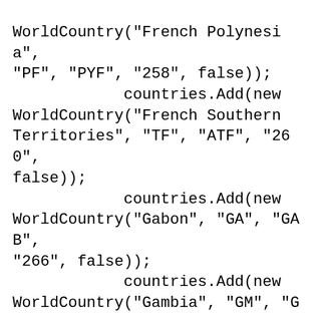WorldCountry("French Polynesia", "PF", "PYF", "258", false));
            countries.Add(new WorldCountry("French Southern Territories", "TF", "ATF", "260", false));
            countries.Add(new WorldCountry("Gabon", "GA", "GAB", "266", false));
            countries.Add(new WorldCountry("Gambia", "GM", "GMB", "270", false));
            countries.Add(new WorldCountry("Georgia", "GE", "GEO", "268", false));
            countries.Add(new